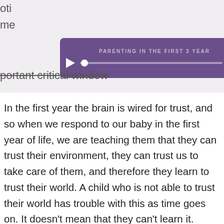[Figure (screenshot): Audio player UI with purple background showing title 'PARENTING IN THE FIRST 3 YEARS', a play button, progress bar with dot at start, and time display '00:00']
portant critical window
In the first year the brain is wired for trust, and so when we respond to our baby in the first year of life, we are teaching them that they can trust their environment, they can trust us to take care of them, and therefore they learn to trust their world. A child who is not able to trust their world has trouble with this as time goes on. It doesn't mean that they can't learn it. There are certainly situations where a child, for some reason or another, is not in a trusting environment and that can be fixed with this intentional focused